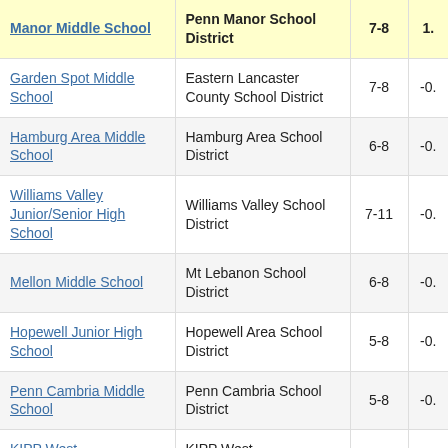| School | District | Grades | Value |
| --- | --- | --- | --- |
| Manor Middle School | Penn Manor School District | 7-8 | 1. |
| Garden Spot Middle School | Eastern Lancaster County School District | 7-8 | -0. |
| Hamburg Area Middle School | Hamburg Area School District | 6-8 | -0. |
| Williams Valley Junior/Senior High School | Williams Valley School District | 7-11 | -0. |
| Mellon Middle School | Mt Lebanon School District | 6-8 | -0. |
| Hopewell Junior High School | Hopewell Area School District | 5-8 | -0. |
| Penn Cambria Middle School | Penn Cambria School District | 5-8 | -0. |
| KIPP West | KIPP West |  |  |